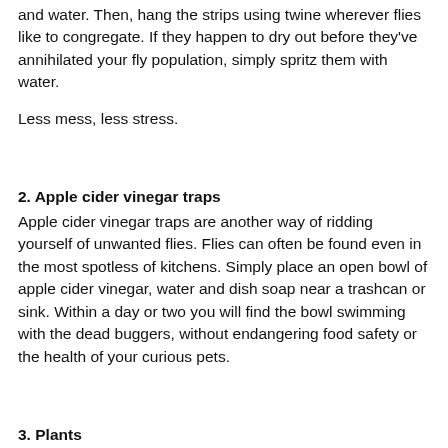and water. Then, hang the strips using twine wherever flies like to congregate. If they happen to dry out before they've annihilated your fly population, simply spritz them with water.
Less mess, less stress.
2. Apple cider vinegar traps
Apple cider vinegar traps are another way of ridding yourself of unwanted flies. Flies can often be found even in the most spotless of kitchens. Simply place an open bowl of apple cider vinegar, water and dish soap near a trashcan or sink. Within a day or two you will find the bowl swimming with the dead buggers, without endangering food safety or the health of your curious pets.
3. Plants
Besides the obvious Venus fly traps, there are numerous plants that can be grown to naturally lower your fly population. Herbs such as